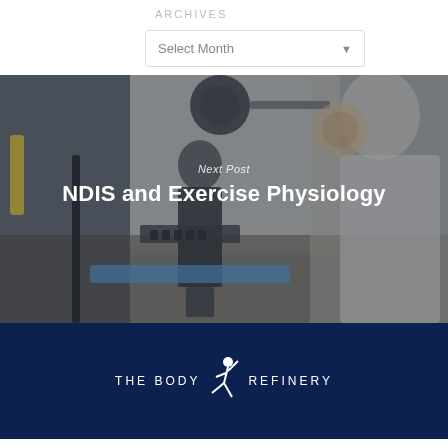ARCHIVES
Select Month
[Figure (photo): Gym interior photo showing a trainer and an older woman doing exercise with weights and gym equipment in the background]
Next Post
NDIS and Exercise Physiology
[Figure (logo): The Body Refinery logo — white figure dancing with text THE BODY REFINERY on dark navy background]